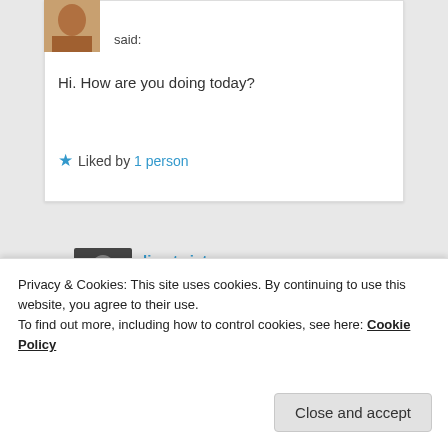said:
Hi. How are you doing today?
★ Liked by 1 person
limetwiste
on May 2, 2020 at 1:30 pm said:
Getting there😊 Thanks.
Privacy & Cookies: This site uses cookies. By continuing to use this website, you agree to their use. To find out more, including how to control cookies, see here: Cookie Policy
Close and accept